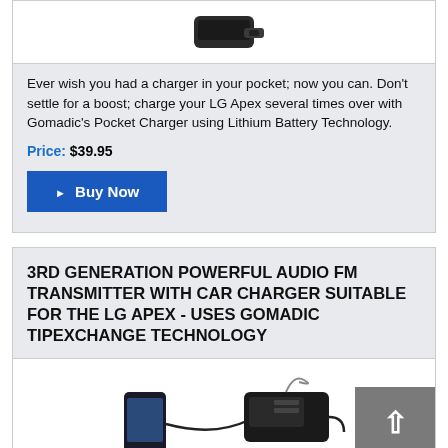[Figure (photo): Product image of a pocket charger device (partially visible at top)]
Ever wish you had a charger in your pocket; now you can. Don't settle for a boost; charge your LG Apex several times over with Gomadic's Pocket Charger using Lithium Battery Technology.
Price: $39.95
Buy Now
3RD GENERATION POWERFUL AUDIO FM TRANSMITTER WITH CAR CHARGER SUITABLE FOR THE LG APEX - USES GOMADIC TIPEXCHANGE TECHNOLOGY
[Figure (photo): Product image showing an FM transmitter connected to a smartphone via cable, with a car charger device]